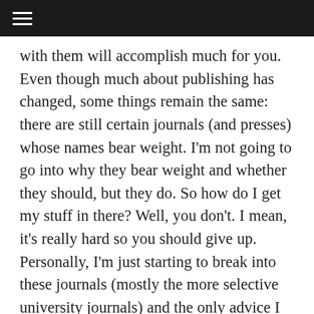≡
with them will accomplish much for you. Even though much about publishing has changed, some things remain the same: there are still certain journals (and presses) whose names bear weight. I'm not going to go into why they bear weight and whether they should, but they do. So how do I get my stuff in there? Well, you don't. I mean, it's really hard so you should give up. Personally, I'm just starting to break into these journals (mostly the more selective university journals) and the only advice I really have is build a relationship with the editors. This can be done in several ways. You can try to beat them down by sending unsolicited work over and over for twenty years until they finally publish you. But let me point out that I've worked as an editor